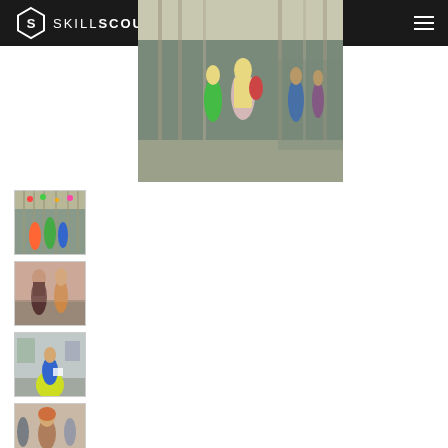[Figure (logo): SkillScout logo on dark header bar with hexagon S icon and text SKILLSCOUT]
[Figure (photo): Main large photo: children and adults walking in a modern building atrium with tall glass columns]
[Figure (photo): Thumbnail 1: People in building atrium with colorful decorations]
[Figure (photo): Thumbnail 2: Two women talking in an office/room setting]
[Figure (photo): Thumbnail 3: Person sitting on yellow exercise ball in office]
[Figure (photo): Thumbnail 4: Woman smiling with others in background]